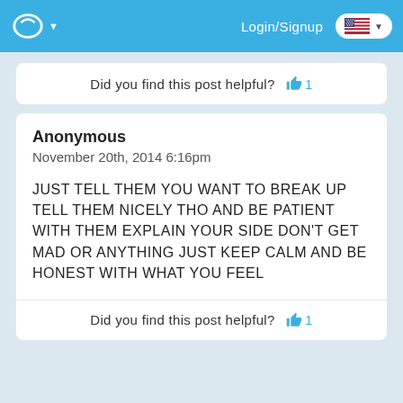Login/Signup
Did you find this post helpful? 👍 1
Anonymous
November 20th, 2014 6:16pm

JUST TELL THEM YOU WANT TO BREAK UP TELL THEM NICELY THO AND BE PATIENT WITH THEM EXPLAIN YOUR SIDE DON'T GET MAD OR ANYTHING JUST KEEP CALM AND BE HONEST WITH WHAT YOU FEEL
Did you find this post helpful? 👍 1